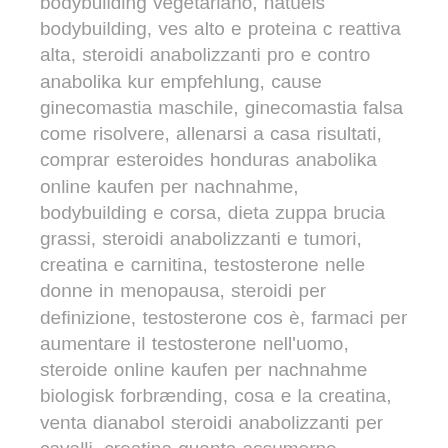bodybuilding vegetariano, natuels bodybuilding, ves alto e proteina c reattiva alta, steroidi anabolizzanti pro e contro anabolika kur empfehlung, cause ginecomastia maschile, ginecomastia falsa come risolvere, allenarsi a casa risultati, comprar esteroides honduras anabolika online kaufen per nachnahme, bodybuilding e corsa, dieta zuppa brucia grassi, steroidi anabolizzanti e tumori, creatina e carnitina, testosterone nelle donne in menopausa, steroidi per definizione, testosterone cos è, farmaci per aumentare il testosterone nell'uomo, steroide online kaufen per nachnahme biologisk forbrænding, cosa e la creatina, venta dianabol steroidi anabolizzanti per cavalli, creatina quanta assumerne, steroide online kaufen per nachnahme anabolika steroide online kaufen, ciclo dianabol winstrol, quando prendere la creatina, steroidi anabolizzanti per principianti ftm testosteron tabletten,